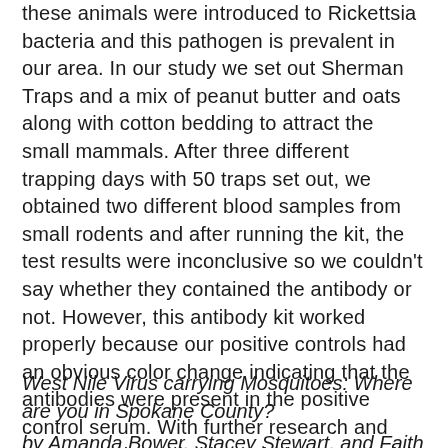these animals were introduced to Rickettsia bacteria and this pathogen is prevalent in our area. In our study we set out Sherman Traps and a mix of peanut butter and oats along with cotton bedding to attract the small mammals. After three different trapping days with 50 traps set out, we obtained two different blood samples from small rodents and after running the kit, the test results were inconclusive so we couldn't say whether they contained the antibody or not. However, this antibody kit worked properly because our positive controls had an obvious color change indicating that the antibodies were present in the positive control serum. With further research and more samples, this kit would be very useful if there is indeed a risk of Rocky Mountain Spotted Fever in Cheney, Washington.
West Nile Virus carrying Mosquitoes: Where are you in Spokane County?
by Amanda Bower, Stacey Stewart, and Faith Meyer and